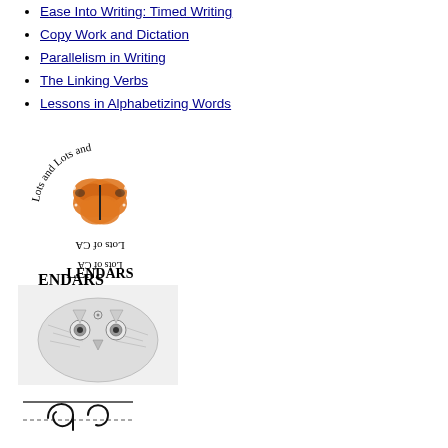Ease Into Writing: Timed Writing
Copy Work and Dictation
Parallelism in Writing
The Linking Verbs
Lessons in Alphabetizing Words
[Figure (logo): Lots and Lots of Calendars logo with a monarch butterfly and rotating/upside-down text]
[Figure (illustration): Pencil sketch illustration of an owl or bird close-up]
[Figure (illustration): Handwriting practice lines with cursive letter 'a' being written]